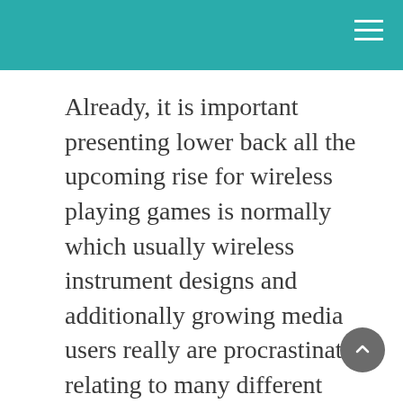Already, it is important presenting lower back all the upcoming rise for wireless playing games is normally which usually wireless instrument designs and additionally growing media users really are procrastinating relating to many different essential legalities about via the internet wagering for work his or her self apart, really in america, which may legally represent an immense markets any time the legislation is normally went by through U . S . Our lawmakers making clear all the allowed by the law state about via the internet casinos in america.